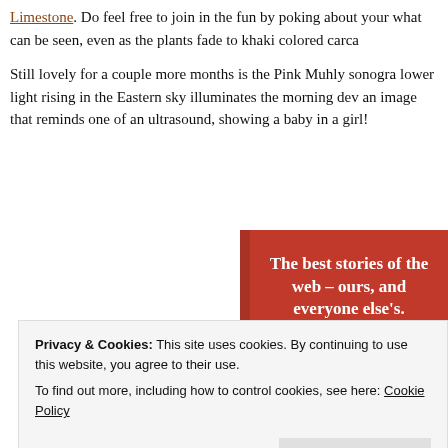Limestone. Do feel free to join in the fun by poking about your what can be seen, even as the plants fade to khaki colored carca
Still lovely for a couple more months is the Pink Muhly sonogra lower light rising in the Eastern sky illuminates the morning dev an image that reminds one of an ultrasound, showing a baby in a girl!
[Figure (other): Red advertisement banner with white bold text reading 'The best stories of the web – ours, and everyone else's.' and a black 'Start reading' button]
Privacy & Cookies: This site uses cookies. By continuing to use this website, you agree to their use.
To find out more, including how to control cookies, see here: Cookie Policy